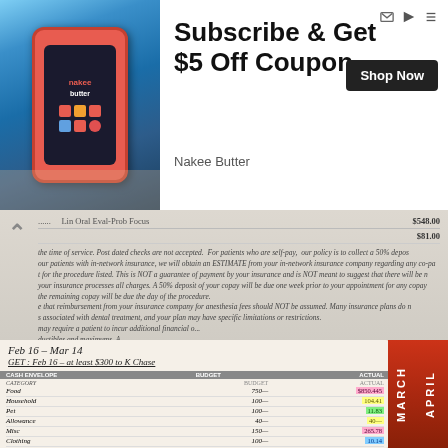[Figure (photo): Advertisement banner: Nakee Butter app shown on a red phone held in hand against a waterfall background, with text 'Subscribe & Get $5 Off Coupon' and 'Shop Now' button]
[Figure (photo): Photograph of a dental/medical billing document showing line items including 'Lim Oral Eval-Prob Focus' for $548.00 and $81.00, with policy text about in-network insurance, estimates, copay deposits, and anesthesia fees]
[Figure (photo): Photograph of a budget planner notebook open to a page showing 'Feb 16 - Mar 14' period with handwritten goals and a cash envelope budget table listing categories: Food, Household, Pet, Allowance, Misc, Clothing, Hair, Garden with budget and actual amounts. Tab labels show MARCH and APRIL]